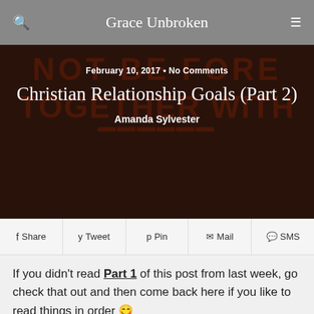Grace Unbroken
[Figure (photo): Dark reddish-brown hero image with silhouetted cityscape and large text reading 'NOT BE FORE... TOGETHER WITH...' in the background. Overlay text shows post metadata and title.]
February 10, 2017 • No Comments
Christian Relationship Goals (Part 2)
Amanda Sylvester
Share  Tweet  Pin  Mail  SMS
If you didn't read Part 1 of this post from last week, go check that out and then come back here if you like to read things in order 😉
But just in case you didn't read Part 1, last week I started writing about things we should look for in a